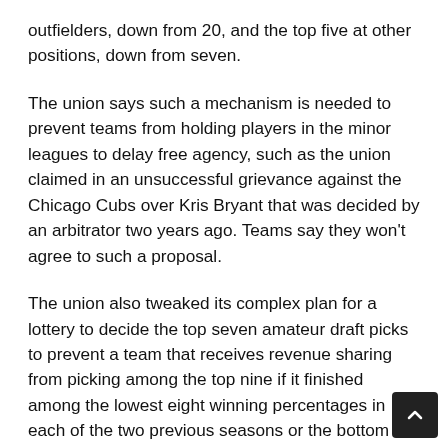outfielders, down from 20, and the top five at other positions, down from seven.
The union says such a mechanism is needed to prevent teams from holding players in the minor leagues to delay free agency, such as the union claimed in an unsuccessful grievance against the Chicago Cubs over Kris Bryant that was decided by an arbitrator two years ago. Teams say they won't agree to such a proposal.
The union also tweaked its complex plan for a lottery to decide the top seven amateur draft picks to prevent a team that receives revenue sharing from picking among the top nine if it finished among the lowest eight winning percentages in each of the two previous seasons or the bottom 12 in each of the previous three. That provision would start in 2024.
New York Yankees owner Hal Steinbrenner, Houston pitcher Lance McCullers Jr. and Miami infielder Miguel Rojas joined